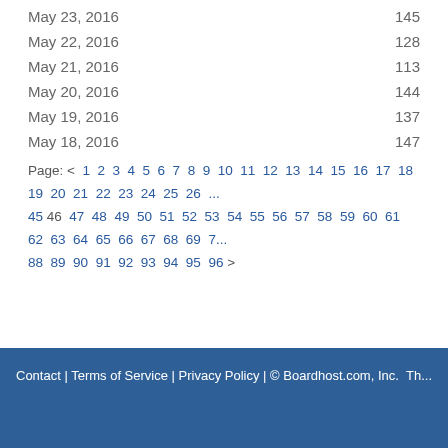May 23, 2016   145
May 22, 2016   128
May 21, 2016   113
May 20, 2016   144
May 19, 2016   137
May 18, 2016   147
Page: < 1 2 3 4 5 6 7 8 9 10 11 12 13 14 15 16 17 18 19 20 21 22 23 24 25 26 ... 45 46 47 48 49 50 51 52 53 54 55 56 57 58 59 60 61 62 63 64 65 66 67 68 69 7... 88 89 90 91 92 93 94 95 96 >
Contact | Terms of Service | Privacy Policy | © Boardhost.com, Inc.   Th...